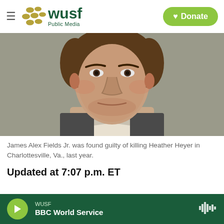WUSF Public Media | Donate
[Figure (photo): Mugshot photo of James Alex Fields Jr., a young white male with short brown hair and stubble, wearing what appears to be a gray/dark vest over a collared shirt, photographed against a neutral background.]
James Alex Fields Jr. was found guilty of killing Heather Heyer in Charlottesville, Va., last year.
Updated at 7:07 p.m. ET
WUSF | BBC World Service